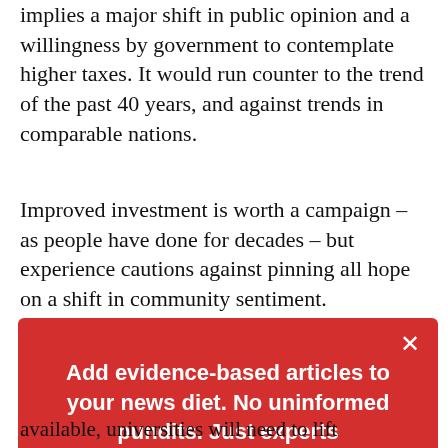implies a major shift in public opinion and a willingness by government to contemplate higher taxes. It would run counter to the trend of the past 40 years, and against trends in comparable nations.
Improved investment is worth a campaign – as people have done for decades – but experience cautions against pinning all hope on a shift in community sentiment.
[Figure (other): Red modal popup box with white text: 'Add evidence-based articles to your news diet. No uninformed pundits. Just experts' and a button 'Get our newsletters', with a close (×) button in the top right.]
available, universities will need to lift international